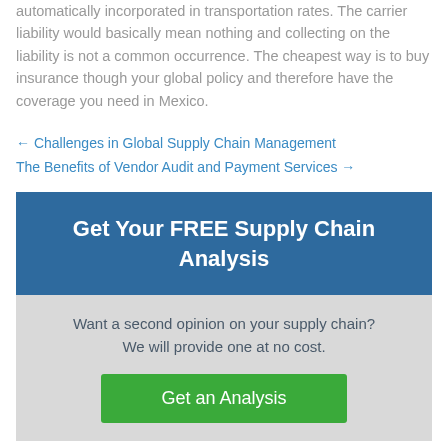automatically incorporated in transportation rates. The carrier liability would basically mean nothing and collecting on the liability is not a common occurrence. The cheapest way is to buy insurance though your global policy and therefore have the coverage you need in Mexico.
← Challenges in Global Supply Chain Management
The Benefits of Vendor Audit and Payment Services →
Get Your FREE Supply Chain Analysis
Want a second opinion on your supply chain? We will provide one at no cost.
Get an Analysis